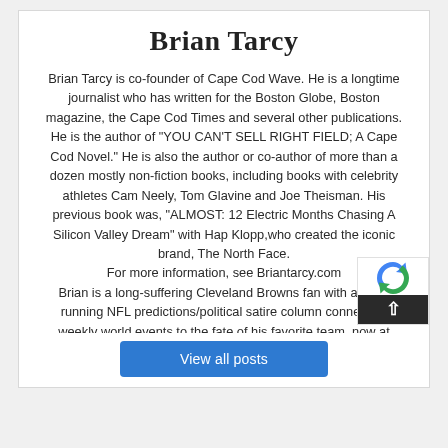Brian Tarcy
Brian Tarcy is co-founder of Cape Cod Wave. He is a longtime journalist who has written for the Boston Globe, Boston magazine, the Cape Cod Times and several other publications. He is the author of "YOU CAN'T SELL RIGHT FIELD; A Cape Cod Novel." He is also the author or co-author of more than a dozen mostly non-fiction books, including books with celebrity athletes Cam Neely, Tom Glavine and Joe Theisman. His previous book was, "ALMOST: 12 Electric Months Chasing A Silicon Valley Dream" with Hap Klopp,who created the iconic brand, The North Face.
For more information, see Briantarcy.com
Brian is a long-suffering Cleveland Browns fan with a long-running NFL predictions/political satire column connecting weekly world events to the fate of his favorite team, now at Whatsgonnahappen.com.